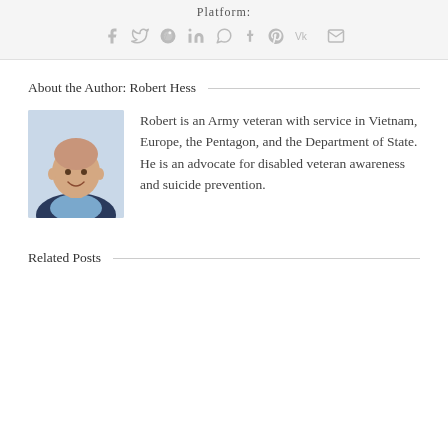Platform:
[Figure (other): Social media sharing icons: Facebook, Twitter, Reddit, LinkedIn, WhatsApp, Tumblr, Pinterest, VK, Email]
About the Author: Robert Hess
[Figure (photo): Headshot photo of Robert Hess, an older man with a bald head and a smile, wearing a blue shirt and dark jacket]
Robert is an Army veteran with service in Vietnam, Europe, the Pentagon, and the Department of State. He is an advocate for disabled veteran awareness and suicide prevention.
Related Posts